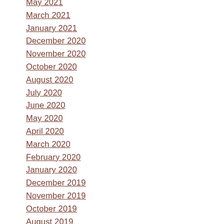May 2021
March 2021
January 2021
December 2020
November 2020
October 2020
August 2020
July 2020
June 2020
May 2020
April 2020
March 2020
February 2020
January 2020
December 2019
November 2019
October 2019
August 2019
July 2019